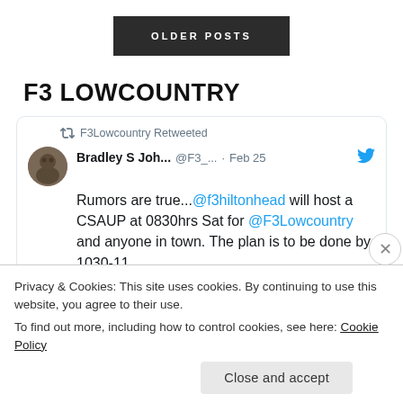OLDER POSTS
F3 LOWCOUNTRY
[Figure (screenshot): Embedded tweet card showing a retweet by F3Lowcountry. Bradley S Joh... @F3_... · Feb 25 with Twitter bird icon. Text: Rumors are true...@f3hiltonhead will host a CSAUP at 0830hrs Sat for @F3Lowcountry and anyone in town. The plan is to be done by 1030-11,]
Privacy & Cookies: This site uses cookies. By continuing to use this website, you agree to their use.
To find out more, including how to control cookies, see here: Cookie Policy
Close and accept